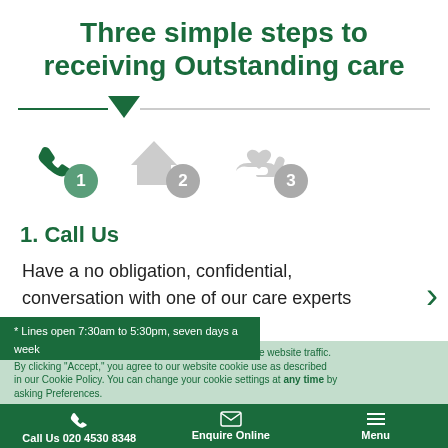Three simple steps to receiving Outstanding care
[Figure (infographic): Three-step process icons: step 1 phone (green, active), step 2 house (grey), step 3 heart-in-hand (grey), with numbered circles. A horizontal divider with a green downward arrow points to step 1.]
1. Call Us
Have a no obligation, confidential, conversation with one of our care experts
* Lines open 7:30am to 5:30pm, seven days a week
We use cookies to improve user experience and analyze website traffic. By clicking "Accept," you agree to our website cookie use as described in our Cookie Policy. You can change your cookie settings at any time by asking Preferences.
Call Us 020 4530 8348   Enquire Online   Menu